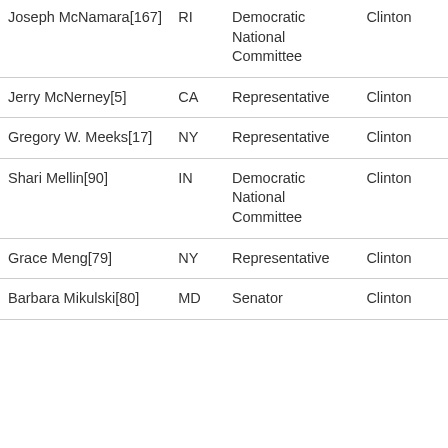| Joseph McNamara[167] | RI | Democratic National Committee | Clinton |
| Jerry McNerney[5] | CA | Representative | Clinton |
| Gregory W. Meeks[17] | NY | Representative | Clinton |
| Shari Mellin[90] | IN | Democratic National Committee | Clinton |
| Grace Meng[79] | NY | Representative | Clinton |
| Barbara Mikulski[80] | MD | Senator | Clinton |